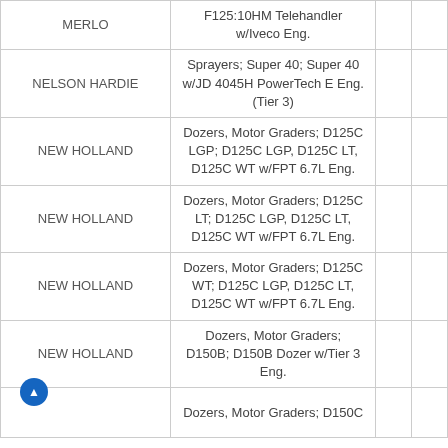| Manufacturer | Equipment Description |  |  |
| --- | --- | --- | --- |
| MERLO | F125:10HM Telehandler w/Iveco Eng. |  |  |
| NELSON HARDIE | Sprayers; Super 40; Super 40 w/JD 4045H PowerTech E Eng. (Tier 3) |  |  |
| NEW HOLLAND | Dozers, Motor Graders; D125C LGP; D125C LGP, D125C LT, D125C WT w/FPT 6.7L Eng. |  |  |
| NEW HOLLAND | Dozers, Motor Graders; D125C LT; D125C LGP, D125C LT, D125C WT w/FPT 6.7L Eng. |  |  |
| NEW HOLLAND | Dozers, Motor Graders; D125C WT; D125C LGP, D125C LT, D125C WT w/FPT 6.7L Eng. |  |  |
| NEW HOLLAND | Dozers, Motor Graders; D150B; D150B Dozer w/Tier 3 Eng. |  |  |
| NEW HOLLAND | Dozers, Motor Graders; D150C |  |  |